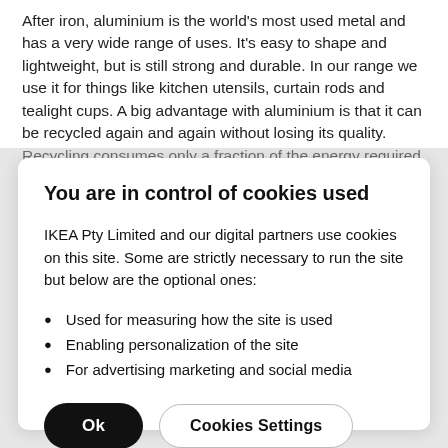After iron, aluminium is the world's most used metal and has a very wide range of uses. It's easy to shape and lightweight, but is still strong and durable. In our range we use it for things like kitchen utensils, curtain rods and tealight cups. A big advantage with aluminium is that it can be recycled again and again without losing its quality. Recycling consumes only a fraction of the energy required to produce aluminium from
You are in control of cookies used
IKEA Pty Limited and our digital partners use cookies on this site. Some are strictly necessary to run the site but below are the optional ones:
Used for measuring how the site is used
Enabling personalization of the site
For advertising marketing and social media